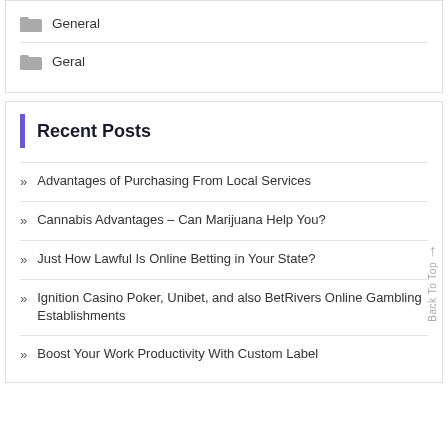General
Geral
Recent Posts
Advantages of Purchasing From Local Services
Cannabis Advantages – Can Marijuana Help You?
Just How Lawful Is Online Betting in Your State?
Ignition Casino Poker, Unibet, and also BetRivers Online Gambling Establishments
Boost Your Work Productivity With Custom Label